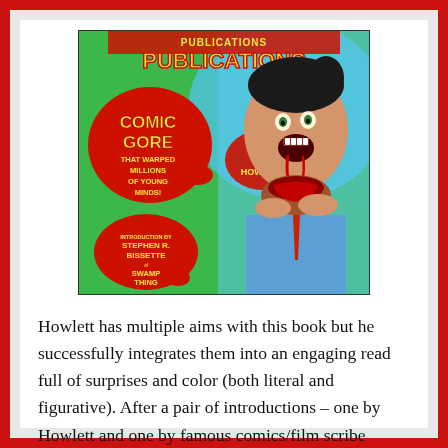[Figure (illustration): Book cover illustration: 'Publications – Comic Gore That Warped Millions of Young Minds! By Mike Howlett. Introduction by Stephen R. Bissette of Swamp Thing.' Features a horror-style illustration of a screaming man with a grotesque wound on his neck, against a green and blue splatter background with red paint splashes and bold yellow text.]
Howlett has multiple aims with this book but he successfully integrates them into an engaging read full of surprises and color (both literal and figurative). After a pair of introductions – one by Howlett and one by famous comics/film scribe Stephen Bissette – that do a good job of setting